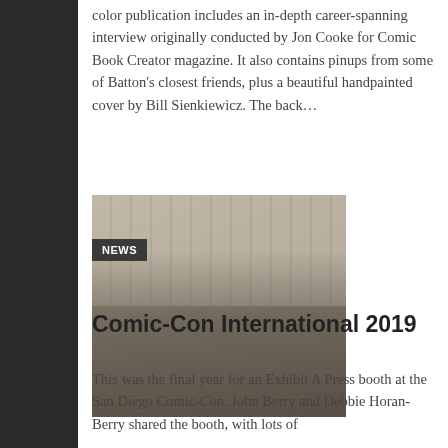color publication includes an in-depth career-spanning interview originally conducted by Jon Cooke for Comic Book Creator magazine. It also contains pinups from some of Batton's closest friends, plus a beautiful handpainted cover by Bill Sienkiewicz. The back…
[Figure (photo): Group photo of several people standing in front of a Comic-Con branded backdrop wall with a NEWS badge overlay in the upper left.]
Comic-Con International 2019
This was the final year for an Exhibit A Press booth at the San Diego Comic-Con. John Berry and Debbie Horan-Berry shared the booth, with lots of